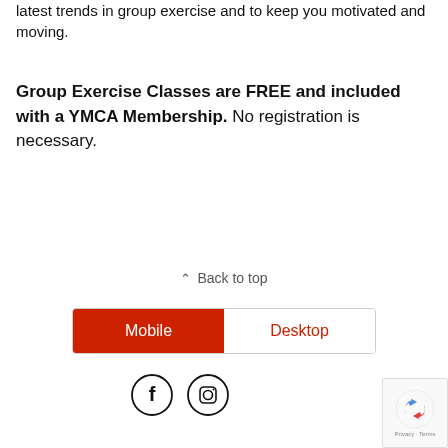latest trends in group exercise and to keep you motivated and moving.
Group Exercise Classes are FREE and included with a YMCA Membership. No registration is necessary.
⌃ Back to top
[Figure (screenshot): Toggle bar with Mobile (red/active) and Desktop (white/red text) options]
[Figure (screenshot): Social media icons: Facebook and Instagram circles, plus reCAPTCHA badge]